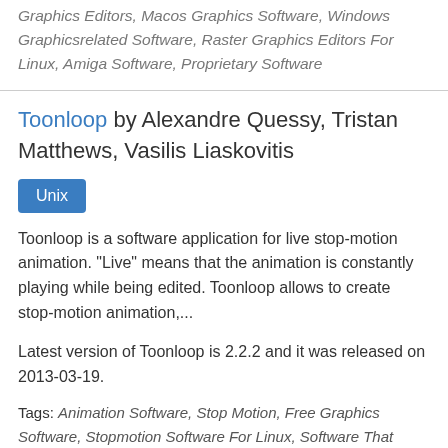Graphics Editors, Macos Graphics Software, Windows Graphicsrelated Software, Raster Graphics Editors For Linux, Amiga Software, Proprietary Software
Toonloop by Alexandre Quessy, Tristan Matthews, Vasilis Liaskovitis
Unix
Toonloop is a software application for live stop-motion animation. "Live" means that the animation is constantly playing while being edited. Toonloop allows to create stop-motion animation,...
Latest version of Toonloop is 2.2.2 and it was released on 2013-03-19.
Tags: Animation Software, Stop Motion, Free Graphics Software, Stopmotion Software For Linux, Software That Uses Gstreamer, Graphics Software That Uses Gtk